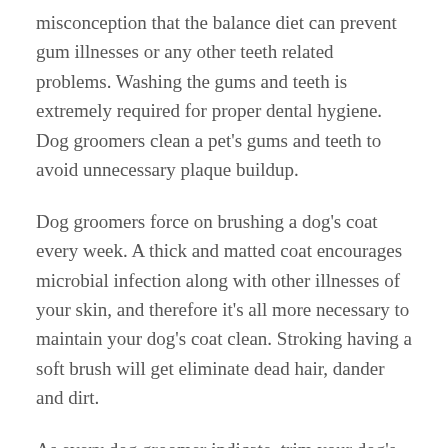misconception that the balance diet can prevent gum illnesses or any other teeth related problems. Washing the gums and teeth is extremely required for proper dental hygiene. Dog groomers clean a pet's gums and teeth to avoid unnecessary plaque buildup.
Dog groomers force on brushing a dog's coat every week. A thick and matted coat encourages microbial infection along with other illnesses of your skin, and therefore it's all more necessary to maintain your dog's coat clean. Stroking having a soft brush will get eliminate dead hair, dander and dirt.
As every dog groomer indicate, trim your dog's